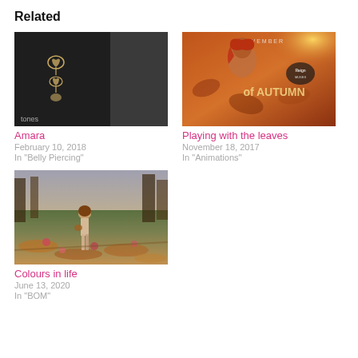Related
[Figure (photo): Dark photo showing jewelry (heart-shaped belly piercing) with 'tones' text visible in lower left corner]
Amara
February 10, 2018
In "Belly Piercing"
[Figure (photo): Fantasy/gaming image of a woman with red hair against autumn leaf background with text 'NOVEMBER' and 'of AUTUMN']
Playing with the leaves
November 18, 2017
In "Animations"
[Figure (photo): Outdoor scene with a female avatar standing in a field of autumn leaves and flowers]
Colours in life
June 13, 2020
In "BOM"